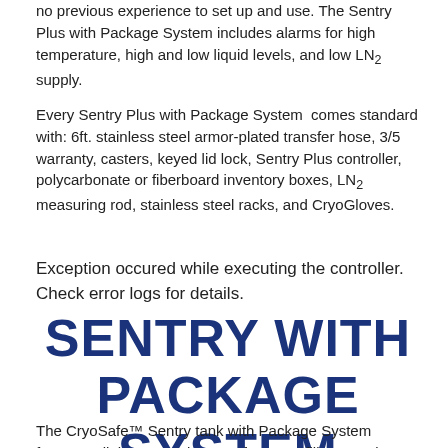no previous experience to set up and use. The Sentry Plus with Package System includes alarms for high temperature, high and low liquid levels, and low LN₂ supply.
Every Sentry Plus with Package System comes standard with: 6ft. stainless steel armor-plated transfer hose, 3/5 warranty, casters, keyed lid lock, Sentry Plus controller, polycarbonate or fiberboard inventory boxes, LN₂ measuring rod, stainless steel racks, and CryoGloves.
Exception occured while executing the controller. Check error logs for details.
SENTRY WITH PACKAGE SYSTEM
The CryoSafe™ Sentry tank with Package System features all the conveniences of an auto fill system in a full access cabinet design. All of the Sentry auto fill tanks can easily be set to provide safe storage of LN₂ in vapor or liquid phase. Sample racks are directly accessible